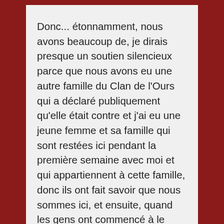Donc... étonnamment, nous avons beaucoup de, je dirais presque un soutien silencieux parce que nous avons eu une autre famille du Clan de l'Ours qui a déclaré publiquement qu'elle était contre et j'ai eu une jeune femme et sa famille qui sont restées ici pendant la première semaine avec moi et qui appartiennent à cette famille, donc ils ont fait savoir que nous sommes ici, et ensuite, quand les gens ont commencé à le découvrir, nous avons commencé à avoir une communauté, à faire des collectes de fonds pour nous permettre d'acheter les fournitures que nous avons dans le bâtiment, dans la structure et tout. Tout cela a été rendu possible grâce au soutien de la communauté. Nous n'investissons pratiquement pas notre propre argent, sauf pour prendre soin de notre famille ici. Je pense donc que le soutien a été excellent, à l'exception du fait que les personnes qui travaillont pour le conseil de bande ne pouvent pas